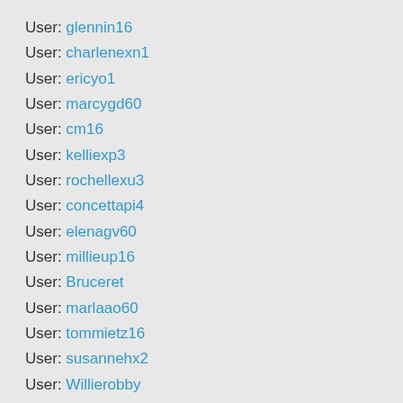User: glennin16
User: charlenexn1
User: ericyo1
User: marcygd60
User: cm16
User: kelliexp3
User: rochellexu3
User: concettapi4
User: elenagv60
User: millieup16
User: Bruceret
User: marlaao60
User: tommietz16
User: susannehx2
User: Willierobby